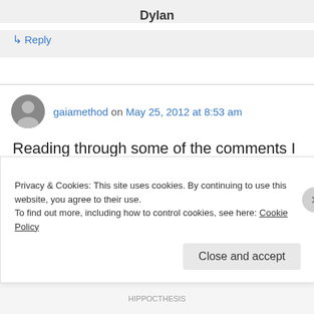Dylan
↳ Reply
gaiamethod on May 25, 2012 at 8:53 am
Reading through some of the comments I noticed one about printed books. Ever tried
Privacy & Cookies: This site uses cookies. By continuing to use this website, you agree to their use.
To find out more, including how to control cookies, see here: Cookie Policy
Close and accept